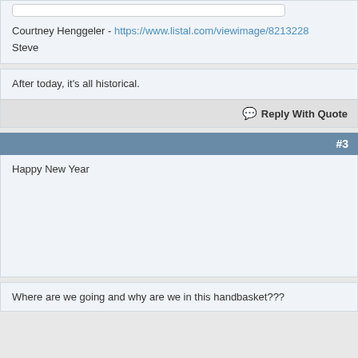Courtney Henggeler - https://www.listal.com/viewimage/8213228
Steve
After today, it's all historical.
Reply With Quote
#3
Happy New Year
Where are we going and why are we in this handbasket???